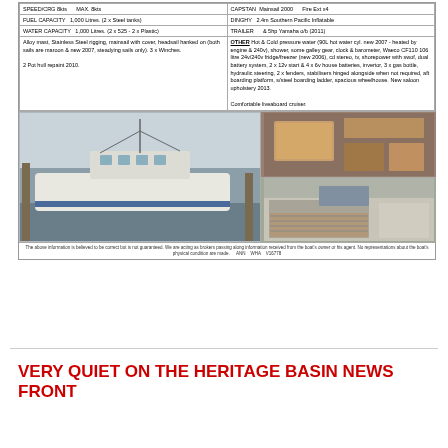| SPEED/CRG 8kts    MAX. 8kts | CAPSTAN  Mainsail 2000    Fire Ext x4 |
| FUEL CAPACITY  1,000 Litres. (2 x Steel tanks) | DINGHY  2.4m Southern Pacific Inflatable |
| WATER CAPACITY  1,000 Litres. (2 x 525 - 2 x Plastic) | TRAILER     & 5hp Yamaha o/b (2011) |
Alloy mast, Stainless Steel rigging, mainsail with cover, headsail hanked on (both sails are maroon & new 2007, steadying sails only). 3 x Winches.

2 Pot hull repaint 2010.
OTHER Hot & Cold pressure water (90L hot water cyl. new 2007 - heated by engine & 240v), shower, some galley gear, clock & barometer, Waeco CF110 106 litre 24v/240v fridge/freezer (new 2006), cd stereo, tv, shorepower with swof, dual battery system, 2 x 12v start & 4 x 6v house batteries, invertor, 3 x gas bottle, hydraulic steering, 2 x fenders, stabilisers hinged alongside when not required, aft boarding platform, s/steel boarding ladder, spacious wheelhouse. New saloon upholstery 2013.

Comfortable liveaboard cruiser.
[Figure (photo): Three photos of a boat: large left photo shows white motor vessel moored at dock; top right shows interior saloon/cabin; bottom right shows another interior cabin view]
The above information is believed to be correct but is not guaranteed. We are acting as brokers passing along information received from the boat's owner or his agent. No representations about the boat's physical condition are made.    ANN   WHA   V16778
VERY QUIET ON THE HERITAGE BASIN NEWS FRONT